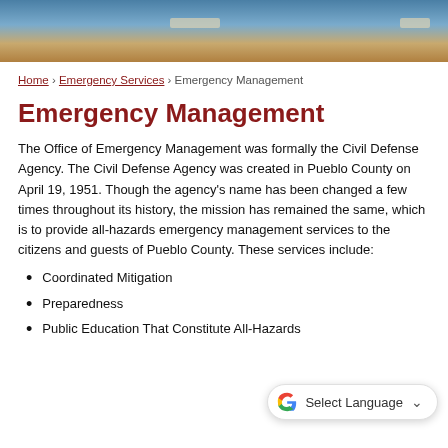[Figure (photo): Government building photo header with blue sky and wooden/tan architectural elements]
Home › Emergency Services › Emergency Management
Emergency Management
The Office of Emergency Management was formally the Civil Defense Agency. The Civil Defense Agency was created in Pueblo County on April 19, 1951. Though the agency's name has been changed a few times throughout its history, the mission has remained the same, which is to provide all-hazards emergency management services to the citizens and guests of Pueblo County. These services include:
Coordinated Mitigation
Preparedness
Public Education That Constitute All-Hazards